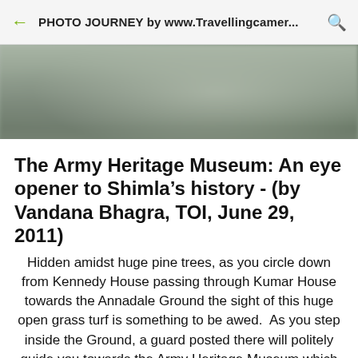PHOTO JOURNEY by www.Travellingcamer...
[Figure (photo): Blurred outdoor photo showing trees and greenery, used as background behind article card]
The Army Heritage Museum: An eye opener to Shimla’s history - (by Vandana Bhagra, TOI, June 29, 2011)
Hidden amidst huge pine trees, as you circle down from Kennedy House passing through Kumar House towards the Annadale Ground the sight of this huge open grass turf is something to be awed.  As you step inside the Ground, a guard posted there will politely guide you towards the Army Heritage Museum which is opened from April to